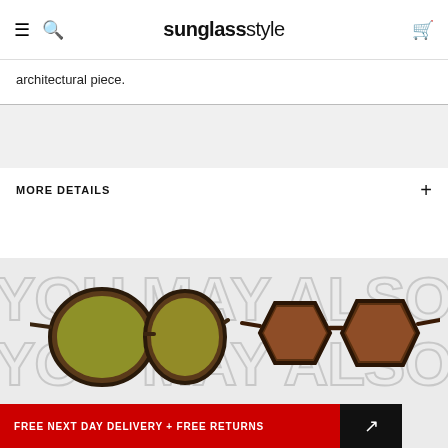sunglassstyle
architectural piece.
MORE DETAILS
[Figure (screenshot): YOU MAY ALSO LIKE section with two sunglasses product images and a SALE badge]
FREE NEXT DAY DELIVERY + FREE RETURNS